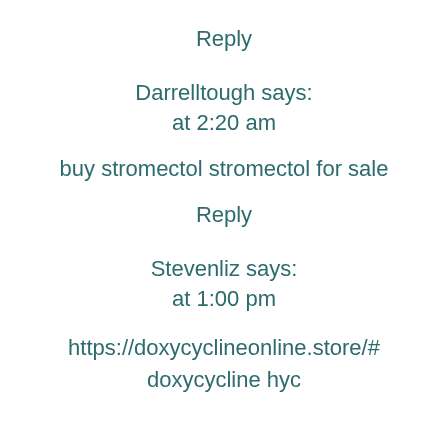Reply
Darrelltough says:
at 2:20 am
buy stromectol stromectol for sale
Reply
Stevenliz says:
at 1:00 pm
https://doxycyclineonline.store/# doxycycline hyc